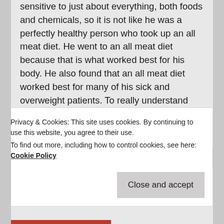sensitive to just about everything, both foods and chemicals, so it is not like he was a perfectly healthy person who took up an all meat diet. He went to an all meat diet because that is what worked best for his body. He also found that an all meat diet worked best for many of his sick and overweight patients. To really understand him, it is necessary to read his book.
Stanley Owsley did not die from cancer. He died from a car accident. His cancer was caused by a chronic infection in his tonsil due to scar tissue build up and improper drainage. It is also important to
Privacy & Cookies: This site uses cookies. By continuing to use this website, you agree to their use.
To find out more, including how to control cookies, see here: Cookie Policy